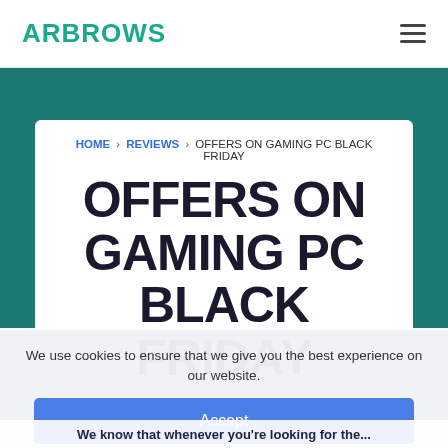ARBROWS
HOME > REVIEWS > OFFERS ON GAMING PC BLACK FRIDAY
OFFERS ON GAMING PC BLACK FRIDAY
We use cookies to ensure that we give you the best experience on our website.
Accept
We know that whenever you're looking for the...